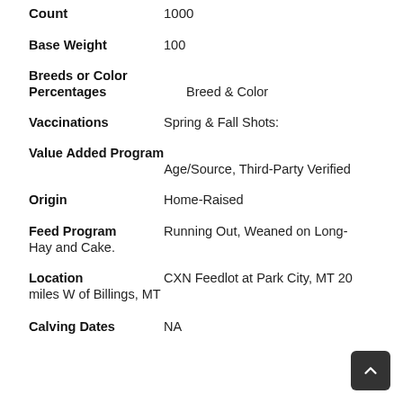Count    1000
Base Weight    100
Breeds or Color Percentages    Breed & Color
Vaccinations    Spring & Fall Shots:
Value Added Program    Age/Source, Third-Party Verified
Origin    Home-Raised
Feed Program    Running Out, Weaned on Long-Hay and Cake.
Location    CXN Feedlot at Park City, MT 20 miles W of Billings, MT
Calving Dates    NA